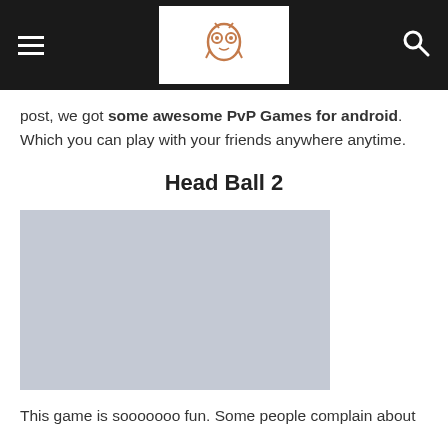[navigation header with hamburger menu, owl logo, and search icon]
post, we got some awesome PvP Games for android. Which you can play with your friends anywhere anytime.
Head Ball 2
[Figure (photo): Light gray placeholder image for Head Ball 2 game screenshot]
This game is sooooooo fun. Some people complain about